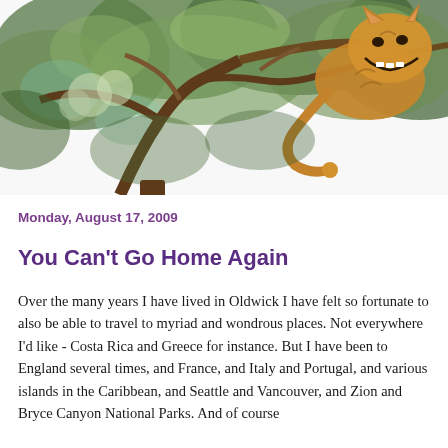[Figure (illustration): Vintage illustration of the Cheshire Cat from Alice in Wonderland, perched in a tree with a wide grin, surrounded by green foliage and branches. The image is cropped showing the upper portion of the tree scene.]
Monday, August 17, 2009
You Can't Go Home Again
Over the many years I have lived in Oldwick I have felt so fortunate to also be able to travel to myriad and wondrous places. Not everywhere I'd like - Costa Rica and Greece for instance. But I have been to England several times, and France, and Italy and Portugal, and various islands in the Caribbean, and Seattle and Vancouver, and Zion and Bryce Canyon National Parks. And of course